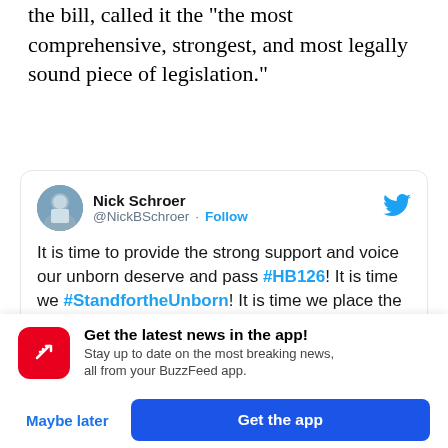the bill, called it the "the most comprehensive, strongest, and most legally sound piece of legislation."
[Figure (screenshot): Tweet from Nick Schroer (@NickBSchroer) with a Follow button and Twitter bird icon. Tweet text: It is time to provide the strong support and voice our unborn deserve and pass #HB126! It is time we #StandfortheUnborn! It is time we place the most comprehensive and legally sound #Prolife legislation on @GovParsonMO's desk #moleg]
Get the latest news in the app! Stay up to date on the most breaking news, all from your BuzzFeed app.
Maybe later   Get the app